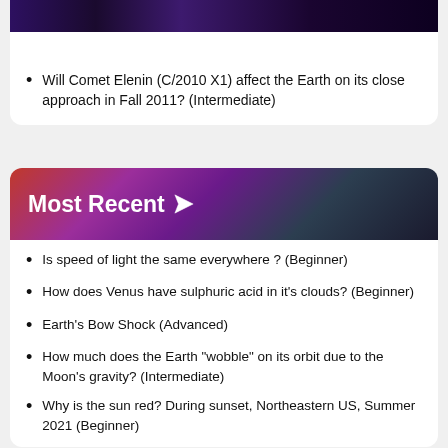[Figure (photo): Space/galaxy image at top of card, dark with nebula colors]
Will Comet Elenin (C/2010 X1) affect the Earth on its close approach in Fall 2011? (Intermediate)
[Figure (photo): Most Recent banner with space background image showing nebula and stars]
Is speed of light the same everywhere ? (Beginner)
How does Venus have sulphuric acid in it's clouds? (Beginner)
Earth's Bow Shock (Advanced)
How much does the Earth "wobble" on its orbit due to the Moon's gravity? (Intermediate)
Why is the sun red? During sunset, Northeastern US, Summer 2021 (Beginner)